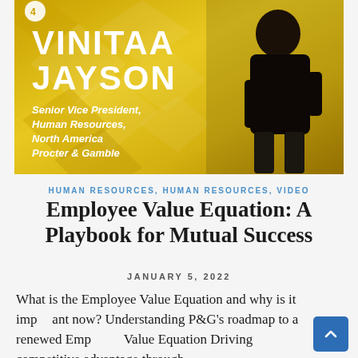[Figure (photo): Speaker banner image with yellow geometric diamond background. Shows Vinitaa Jayson, Senior Vice President Human Resources North America Procter & Gamble, speaking on stage in black outfit. Name displayed in large white bold text at top.]
HUMAN RESOURCES, HUMAN RESOURCES, VIDEO
Employee Value Equation: A Playbook for Mutual Success
JANUARY 5, 2022
What is the Employee Value Equation and why is it important now? Understanding P&G's roadmap to a renewed Employee Value Equation Driving competitive advantage through